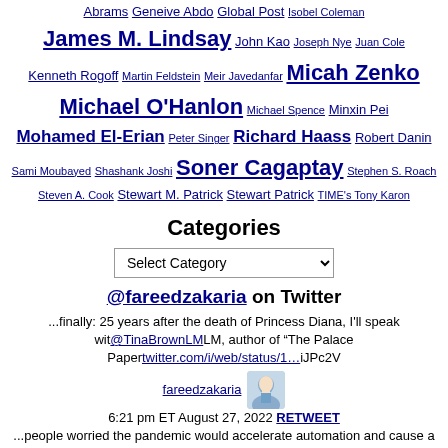Abrams Geneive Abdo Global Post Isobel Coleman James M. Lindsay John Kao Joseph Nye Juan Cole Kenneth Rogoff Martin Feldstein Meir Javedanfar Micah Zenko Michael O'Hanlon Michael Spence Minxin Pei Mohamed El-Erian Peter Singer Richard Haass Robert Danin Sami Moubayed Shashank Joshi Soner Cagaptay Stephen S. Roach Steven A. Cook Stewart M. Patrick Stewart Patrick TIME's Tony Karon
Categories
Select Category
@fareedzakaria on Twitter
...finally: 25 years after the death of Princess Diana, I'll speak wit@TinaBrownLMLM, author of "The Palace Papertwitter.com/i/web/status/1…iJPc2V
fareedzakaria 6:21 pm ET August 27, 2022 RETWEET
...people worried the pandemic would accelerate automation and cause a jobs shortage. Instead, we have a worker sho🔷twitter.com/i/web/status/1…r7
fareedzakaria 6:21 pm ET August 27, 2022 RETWEET